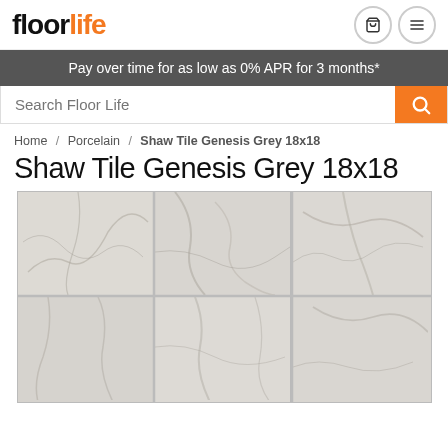floorlife
Pay over time for as low as 0% APR for 3 months*
Search Floor Life
Home / Porcelain / Shaw Tile Genesis Grey 18x18
Shaw Tile Genesis Grey 18x18
[Figure (photo): Shaw Tile Genesis Grey 18x18 porcelain tile product image showing a 3x2 grid of grey marble-look tiles with subtle veining patterns]